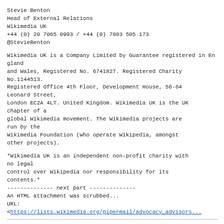Stevie Benton
Head of External Relations
Wikimedia UK
+44 (0) 20 7065 0993 / +44 (0) 7803 505 173
@StevieBenton
Wikimedia UK is a Company Limited by Guarantee registered in England and Wales, Registered No. 6741827. Registered Charity No.1144513. Registered Office 4th Floor, Development House, 56-64 Leonard Street, London EC2A 4LT. United Kingdom. Wikimedia UK is the UK chapter of a global Wikimedia movement. The Wikimedia projects are run by the Wikimedia Foundation (who operate Wikipedia, amongst other projects).
*Wikimedia UK is an independent non-profit charity with no legal control over Wikipedia nor responsibility for its contents.*
-------------- next part --------------
An HTML attachment was scrubbed...
URL:
<https://lists.wikimedia.org/pipermail/advocacy_advisors...